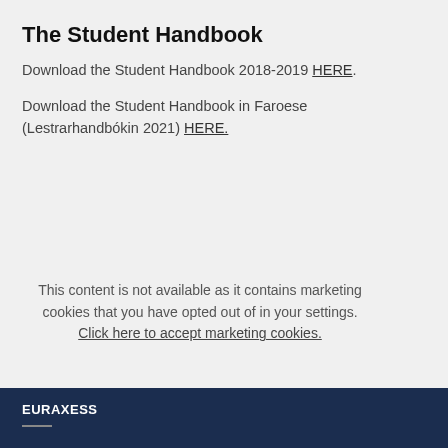The Student Handbook
Download the Student Handbook 2018-2019 HERE.
Download the Student Handbook in Faroese (Lestrarhandbókin 2021) HERE.
This content is not available as it contains marketing cookies that you have opted out of in your settings. Click here to accept marketing cookies.
EURAXESS